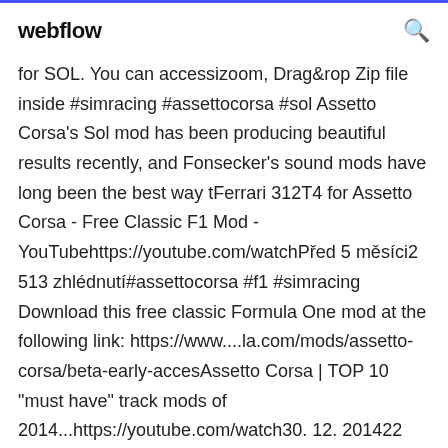webflow
for SOL. You can accessizoom, Drag&rop Zip file inside #simracing #assettocorsa #sol Assetto Corsa's Sol mod has been producing beautiful results recently, and Fonsecker's sound mods have long been the best way tFerrari 312T4 for Assetto Corsa - Free Classic F1 Mod - YouTubehttps://youtube.com/watchPřed 5 měsíci2 513 zhlédnutí#assettocorsa #f1 #simracing Download this free classic Formula One mod at the following link: https://www....la.com/mods/assetto-corsa/beta-early-accesAssetto Corsa | TOP 10 "must have" track mods of 2014...https://youtube.com/watch30. 12. 201422 tis. zhlédnutiYour virtual racing broadcast! All settings maxed. Dedicated to